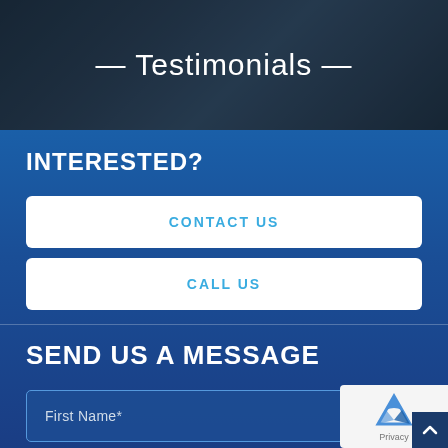[Figure (photo): Hero banner with dark overlay showing a person working on a laptop, with the heading 'Testimonials' centered in white text with decorative dashes]
— Testimonials —
INTERESTED?
CONTACT US
CALL US
SEND US A MESSAGE
First Name*